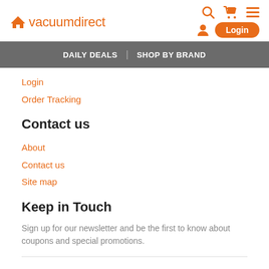vacuumdirect
Login
Order Tracking
Contact us
About
Contact us
Site map
Keep in Touch
Sign up for our newsletter and be the first to know about coupons and special promotions.